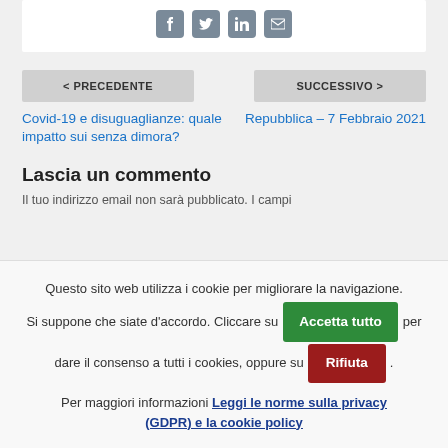[Figure (other): Social sharing icons: Facebook, Twitter, LinkedIn, Email]
< PRECEDENTE
SUCCESSIVO >
Covid-19 e disuguaglianze: quale impatto sui senza dimora?
Repubblica – 7 Febbraio 2021
Lascia un commento
Il tuo indirizzo email non sarà pubblicato. I campi
Questo sito web utilizza i cookie per migliorare la navigazione. Si suppone che siate d'accordo. Cliccare su Accetta tutto per dare il consenso a tutti i cookies, oppure su Rifiuta.
Per maggiori informazioni Leggi le norme sulla privacy (GDPR) e la cookie policy